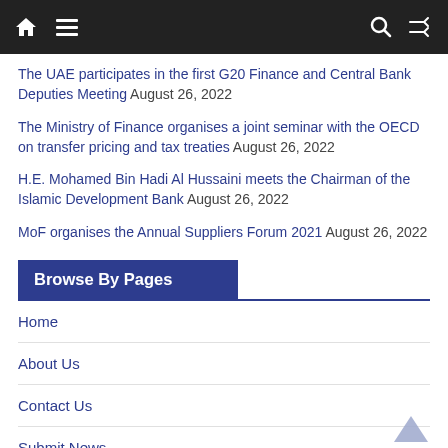Navigation bar with home, menu, search, and shuffle icons
The UAE participates in the first G20 Finance and Central Bank Deputies Meeting August 26, 2022
The Ministry of Finance organises a joint seminar with the OECD on transfer pricing and tax treaties August 26, 2022
H.E. Mohamed Bin Hadi Al Hussaini meets the Chairman of the Islamic Development Bank August 26, 2022
MoF organises the Annual Suppliers Forum 2021 August 26, 2022
Browse By Pages
Home
About Us
Contact Us
Submit News